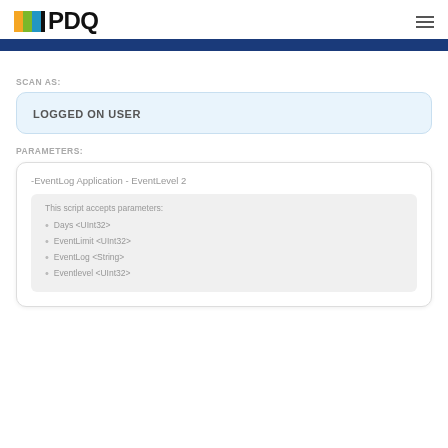PDQ
[Figure (other): Dark blue horizontal bar]
SCAN AS:
LOGGED ON USER
PARAMETERS:
-EventLog Application - EventLevel 2
This script accepts parameters:
• Days <UInt32>
• EventLimit <UInt32>
• EventLog <String>
• Eventlevel <UInt32>